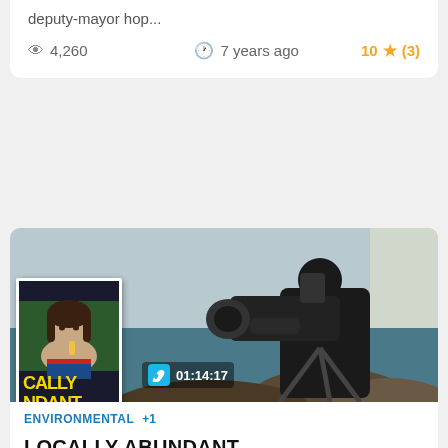deputy-mayor hop...
4,260 views · 7 years ago · 10 ★ (3)
[Figure (photo): Thumbnail showing a cameraman filming on rocky seashore, with an overlaid movie poster for 'Locally Abundant'. Vimeo icon and duration 01:14:17 displayed.]
ENVIRONMENTAL +1
LOCALLY ABUNDANT
Two young Maritimers take a 4 month journey across